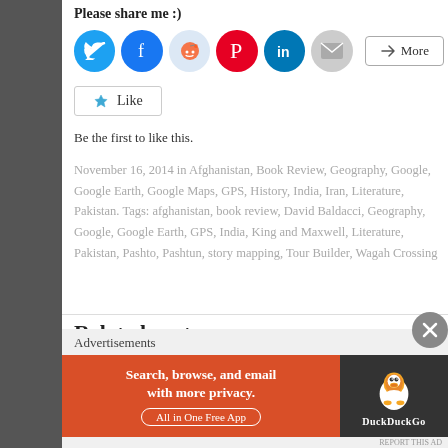Please share me :)
[Figure (infographic): Social share buttons: Twitter (blue), Facebook (blue), Reddit (light blue), Pinterest (red), LinkedIn (teal), Email (gray), and a More button]
[Figure (infographic): Like button with star icon]
Be the first to like this.
November 16, 2014 in Afghanistan, Book Review, Geography, Google, Google Earth, Google Maps, GPS, History, India, Iran, Literature, Pakistan. Tags: afghanistan, book review, David Baldacci, Geography, Google, Google Earth, GPS, India, King and Maxwell, Literature, Pakistan, Pashto, Pashtun, story mapping, Tour Builder, Wagah Crossing
Related posts
Advertisements
[Figure (infographic): DuckDuckGo advertisement banner: Search, browse, and email with more privacy. All in One Free App]